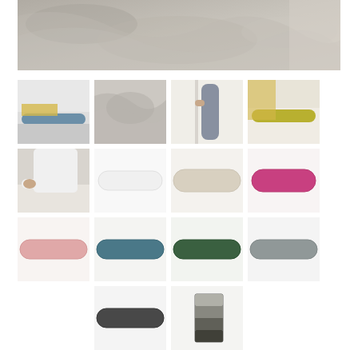[Figure (photo): Close-up of grey and beige crumpled linen/fabric bedding]
[Figure (photo): Blue body pillow on a bed with white sheets]
[Figure (photo): Grey crumpled bedding on a bed]
[Figure (photo): Person holding a grey/blue body pillow while standing]
[Figure (photo): Yellow/green body pillow on a bed]
[Figure (photo): Person placing a grey pillow on a bed]
[Figure (photo): White body pillow on white background]
[Figure (photo): Light beige/natural body pillow on white background]
[Figure (photo): Pink/magenta body pillow on white background]
[Figure (photo): Pink body pillow on white background]
[Figure (photo): Teal/dark blue body pillow on white background]
[Figure (photo): Dark green body pillow on white background]
[Figure (photo): Grey body pillow on white background]
[Figure (photo): Dark charcoal body pillow on white background]
[Figure (photo): Fabric swatch samples in grey tones]